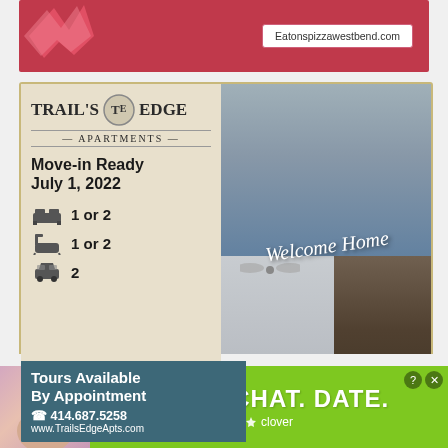[Figure (photo): Red advertisement banner for Eaton's Pizza West Bend with starburst logo and URL eatonspizzawestbend.com]
[Figure (photo): Trail's Edge Apartments advertisement. Left side cream/beige background with logo, 'Move-in Ready July 1, 2022', bedroom icon (1 or 2), bathroom icon (1 or 2), parking icon (2), teal diagonal background, 'Tours Available By Appointment', phone 414.687.5258, website www.TrailsEdgeApts.com. Right side photo collage of apartment building exterior, living room with ceiling fan, kitchen with stainless refrigerator. 'Welcome Home' script overlay. Address: 250 S. Forest Ave, West Bend, WI.]
[Figure (photo): Green advertisement banner with woman photo on left, bold white text 'MEET. CHAT. DATE.' and Clover app branding with close/info buttons.]